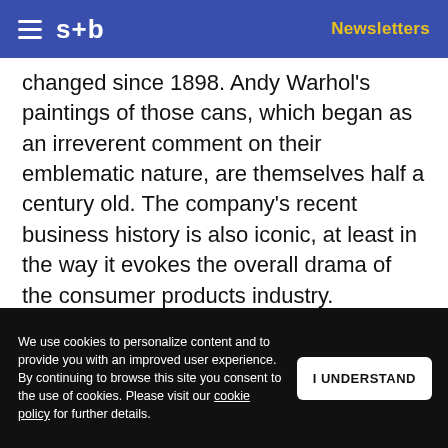s+b  Newsletters
changed since 1898. Andy Warhol's paintings of those cans, which began as an irreverent comment on their emblematic nature, are themselves half a century old. The company's recent business history is also iconic, at least in the way it evokes the overall drama of the consumer products industry.
We use cookies to personalize content and to provide you with an improved user experience. By continuing to browse this site you consent to the use of cookies. Please visit our cookie policy for further details.